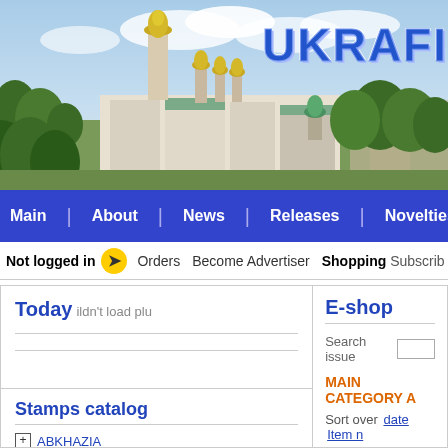[Figure (photo): Aerial photo of Kyiv cityscape with golden-domed churches and green trees under blue sky]
UKRAFI
Main | About | News | Releases | Novelties
Not logged in → Orders Become Advertiser Shopping Subscrib
Today
Plugin couldn't load plu
Stamps catalog
ABKHAZIA
ARMENIA
E-shop
Search issue
MAIN CATEGORY A
Sort over date Item n
LV00151